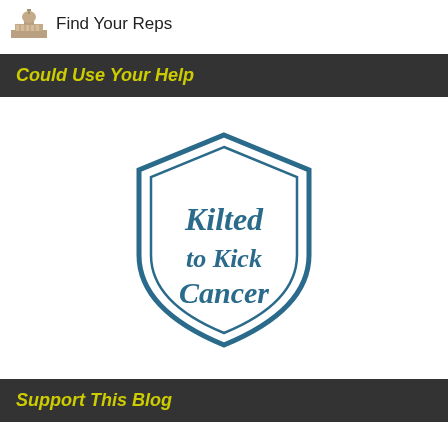Find Your Reps
Could Use Your Help
[Figure (logo): Kilted to Kick Cancer shield logo with old English style text]
Support This Blog